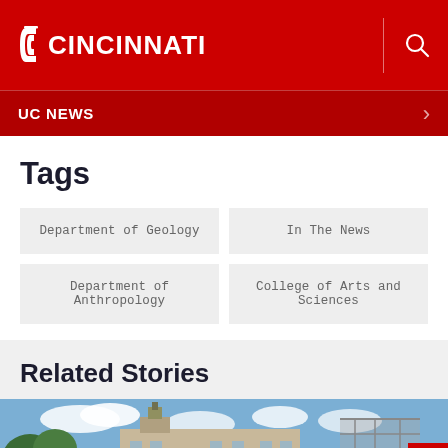UC Cincinnati logo and search
UC NEWS
Tags
Department of Geology
In The News
Department of Anthropology
College of Arts and Sciences
Related Stories
[Figure (photo): Exterior view of a university building with a clock tower against a blue sky with clouds, construction scaffolding visible on right]